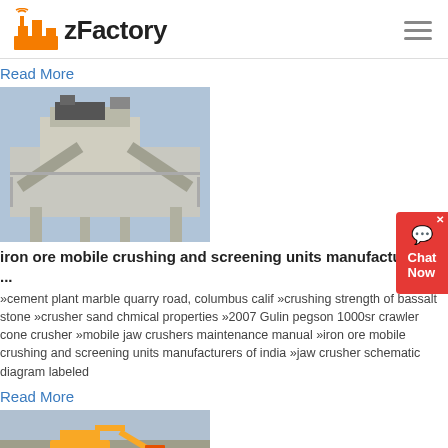zFactory
Read More
[Figure (photo): Industrial iron ore mobile crushing and screening unit on elevated platform structure]
iron ore mobile crushing and screening units manufacturers ...
»cement plant marble quarry road, columbus calif »crushing strength of bassalt stone »crusher sand chmical properties »2007 Gulin pegson 1000sr crawler cone crusher »mobile jaw crushers maintenance manual »iron ore mobile crushing and screening units manufacturers of india »jaw crusher schematic diagram labeled
Read More
[Figure (photo): Construction or mining equipment working at a site]